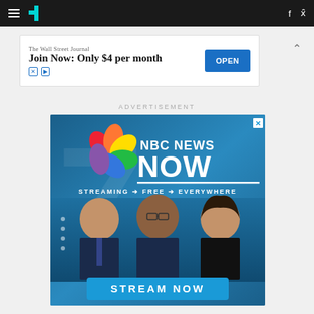HuffPost navigation bar with hamburger menu, logo, Facebook and Twitter icons
[Figure (screenshot): Wall Street Journal advertisement banner: 'The Wall Street Journal — Join Now: Only $4 per month' with OPEN button]
ADVERTISEMENT
[Figure (screenshot): NBC News Now advertisement showing peacock logo, NBC NEWS NOW branding, 'STREAMING → FREE → EVERYWHERE', three news anchors, and STREAM NOW button]